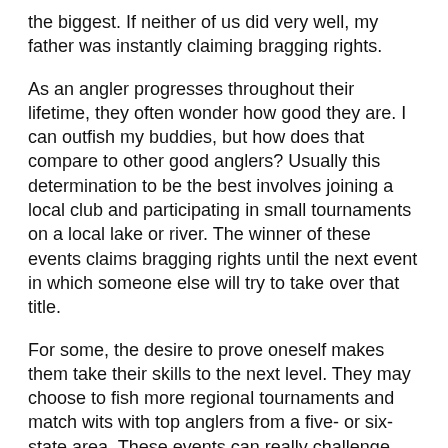the biggest. If neither of us did very well, my father was instantly claiming bragging rights.
As an angler progresses throughout their lifetime, they often wonder how good they are. I can outfish my buddies, but how does that compare to other good anglers? Usually this determination to be the best involves joining a local club and participating in small tournaments on a local lake or river. The winner of these events claims bragging rights until the next event in which someone else will try to take over that title.
For some, the desire to prove oneself makes them take their skills to the next level. They may choose to fish more regional tournaments and match wits with top anglers from a five- or six-state area. These events can really challenge your abilities because often times they are fished on waters that are not your home turf.
If you can survive the mental, physical and financial challenges of fishing at the regional level, then you may push forward to a more national circuit.